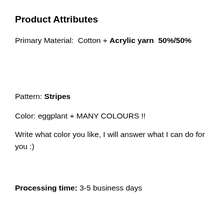Product Attributes
Primary Material:  Cotton + Acrylic yarn  50%/50%
Pattern: Stripes
Color: eggplant + MANY COLOURS !!
Write what color you like, I will answer what I can do for you :)
Processing time: 3-5 business days